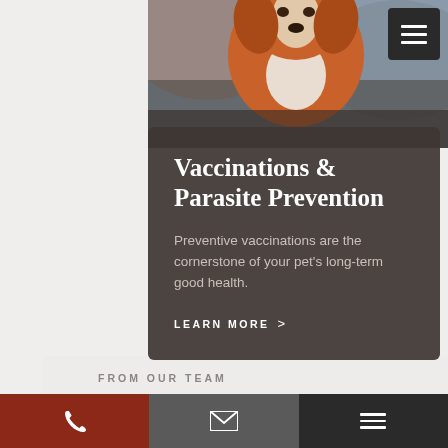[Figure (photo): A dog (brown and white coloring, appears to be a Golden Retriever or similar breed) photographed from the front against a blurred background. The image is cropped to the top portion of the page.]
Vaccinations & Parasite Prevention
Preventive vaccinations are the cornerstone of your pet's long-term good health.
LEARN MORE >
FROM OUR TEAM